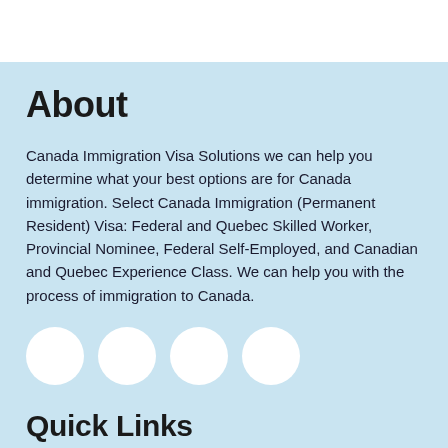About
Canada Immigration Visa Solutions we can help you determine what your best options are for Canada immigration. Select Canada Immigration (Permanent Resident) Visa: Federal and Quebec Skilled Worker, Provincial Nominee, Federal Self-Employed, and Canadian and Quebec Experience Class. We can help you with the process of immigration to Canada.
[Figure (illustration): Four white circles in a horizontal row on light blue background]
Quick Links
Canada
Services
Canada Immigration Consulting
Blog